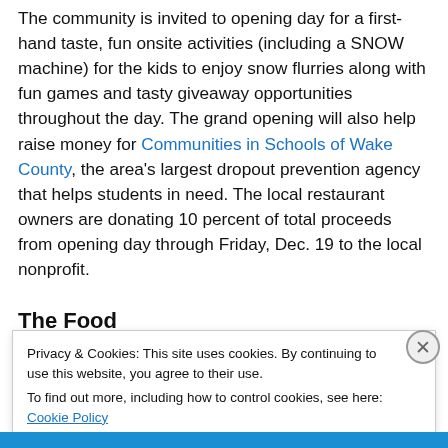The community is invited to opening day for a first-hand taste, fun onsite activities (including a SNOW machine) for the kids to enjoy snow flurries along with fun games and tasty giveaway opportunities throughout the day. The grand opening will also help raise money for Communities in Schools of Wake County, the area's largest dropout prevention agency that helps students in need. The local restaurant owners are donating 10 percent of total proceeds from opening day through Friday, Dec. 19 to the local nonprofit.
The Food
Privacy & Cookies: This site uses cookies. By continuing to use this website, you agree to their use.
To find out more, including how to control cookies, see here: Cookie Policy